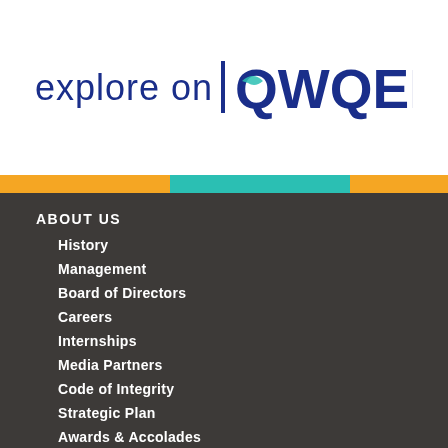[Figure (logo): explore on QWQED logo — dark blue text 'explore on' with a vertical bar and QWQED wordmark with a stylized Q]
ABOUT US
History
Management
Board of Directors
Careers
Internships
Media Partners
Code of Integrity
Strategic Plan
Awards & Accolades
CONTACT US